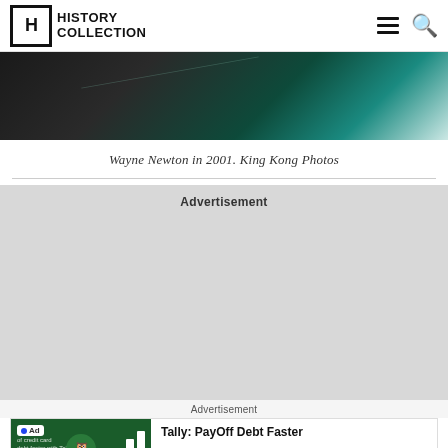HISTORY COLLECTION
[Figure (photo): Partial view of a dark image with teal/green diagonal lighting element]
Wayne Newton in 2001. King Kong Photos
Advertisement
Advertisement
[Figure (screenshot): Ad banner for Tally: PayOff Debt Faster with Install button]